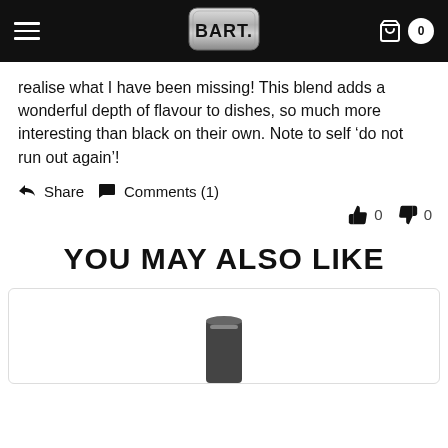BART. (logo with navigation and cart)
realise what I have been missing! This blend adds a wonderful depth of flavour to dishes, so much more interesting than black on their own. Note to self ‘do not run out again’!
Share   Comments (1)
thumbs up 0   thumbs down 0
YOU MAY ALSO LIKE
[Figure (photo): Product image partially visible at the bottom of the page inside a rounded card]